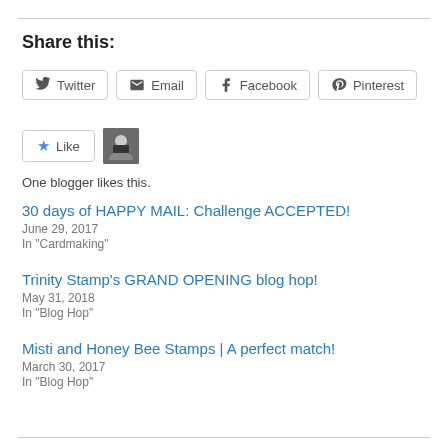Share this:
Twitter | Email | Facebook | Pinterest (social share buttons)
Like button with avatar
One blogger likes this.
30 days of HAPPY MAIL: Challenge ACCEPTED!
June 29, 2017
In "Cardmaking"
Trinity Stamp's GRAND OPENING blog hop!
May 31, 2018
In "Blog Hop"
Misti and Honey Bee Stamps | A perfect match!
March 30, 2017
In "Blog Hop"